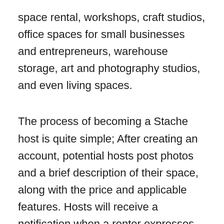space rental, workshops, craft studios, office spaces for small businesses and entrepreneurs, warehouse storage, art and photography studios, and even living spaces.
The process of becoming a Stache host is quite simple; After creating an account, potential hosts post photos and a brief description of their space, along with the price and applicable features. Hosts will receive a notification when a renter expresses interest, after which the booking and move-in process can be coordinated via Stache's messaging platform.